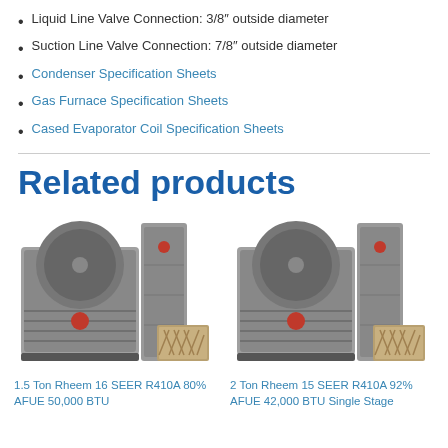Liquid Line Valve Connection: 3/8″ outside diameter
Suction Line Valve Connection: 7/8″ outside diameter
Condenser Specification Sheets
Gas Furnace Specification Sheets
Cased Evaporator Coil Specification Sheets
Related products
[Figure (photo): 1.5 Ton Rheem 16 SEER R410A HVAC system with condenser unit, gas furnace, and evaporator coil]
[Figure (photo): 2 Ton Rheem 15 SEER R410A HVAC system with condenser unit, gas furnace, and evaporator coil]
1.5 Ton Rheem 16 SEER R410A 80% AFUE 50,000 BTU
2 Ton Rheem 15 SEER R410A 92% AFUE 42,000 BTU Single Stage